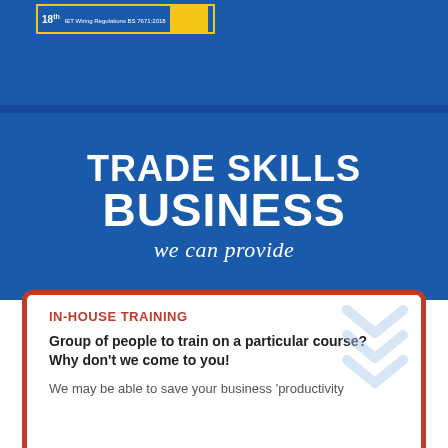[Figure (illustration): Book cover or banner for '18th IET Wiring Regulations BS 7671:2018' shown in top-left area]
TRADE SKILLS BUSINESS we can provide
IN-HOUSE TRAINING
Group of people to train on a particular course? Why don't we come to you!
We may be able to save your business 'productivity